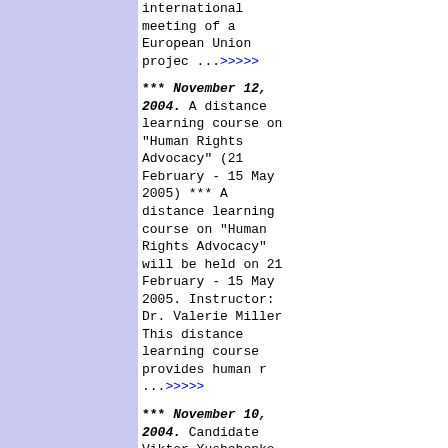international meeting of a European Union projec ...>>>>>
*** November 12, 2004. A distance learning course on "Human Rights Advocacy" (21 February - 15 May 2005) *** A distance learning course on "Human Rights Advocacy" will be held on 21 February - 15 May 2005. Instructor: Dr. Valerie Miller This distance learning course provides human r ...>>>>>
*** November 10, 2004. Candidate Viktor Yushchenko wins first round of Ukraine ...